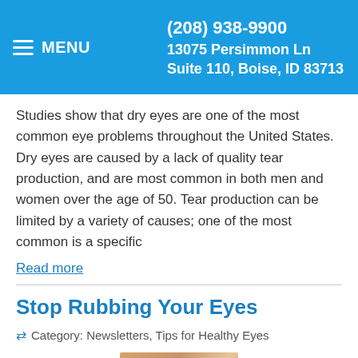MENU | (208) 938-9900 | 13075 Persimmon Ln Suite 110, Boise, ID 83713
Studies show that dry eyes are one of the most common eye problems throughout the United States. Dry eyes are caused by a lack of quality tear production, and are most common in both men and women over the age of 50. Tear production can be limited by a variety of causes; one of the most common is a specific
Read more
Stop Rubbing Your Eyes
Category: Newsletters, Tips for Healthy Eyes
[Figure (photo): Thumbnail photo related to the article Stop Rubbing Your Eyes]